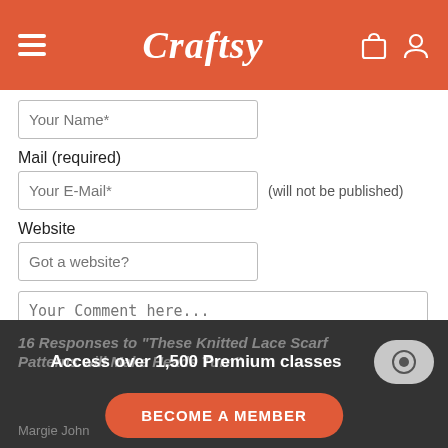Craftsy
Your Name*
Mail (required)
Your E-Mail* (will not be published)
Website
Got a website?
Your Comment here...
SUBMIT
16 Responses to "These Knitted Lace Scarf Patterns will Make Heads Turn"
Access over 1,500 Premium classes
BECOME A MEMBER
Margie John